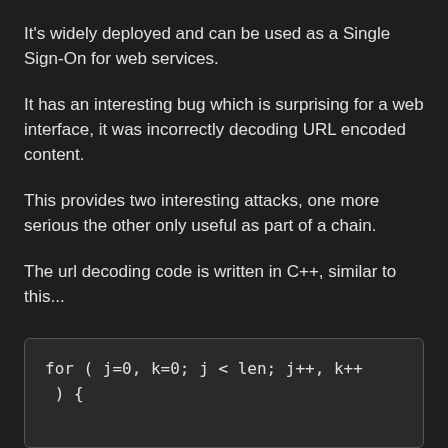It's widely deployed and can be used as a Single Sign-On for web services.
It has an interesting bug which is surprising for a web interface, it was incorrectly decoding URL encoded content.
This provides two interesting attacks, one more serious the other only useful as part of a chain.
The url decoding code is written in C++, similar to this...
for ( j=0, k=0; j < len; j++, k++
) {